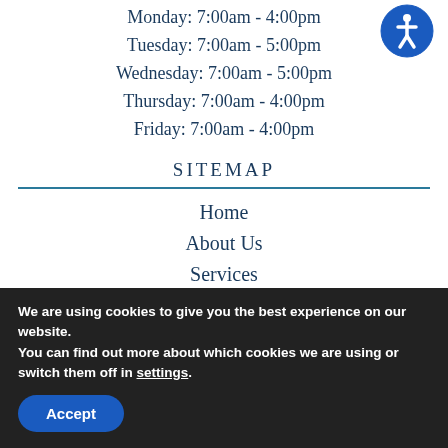Monday: 7:00am - 4:00pm
Tuesday: 7:00am - 5:00pm
Wednesday: 7:00am - 5:00pm
Thursday: 7:00am - 4:00pm
Friday: 7:00am - 4:00pm
Sitemap
Home
About Us
Services
New Patients
Technology
We are using cookies to give you the best experience on our website.
You can find out more about which cookies we are using or switch them off in settings.
Accept